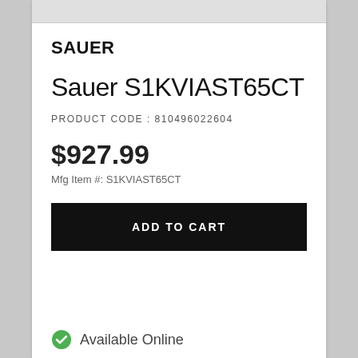SAUER
Sauer S1KVIAST65CT
PRODUCT CODE : 810496022604
$927.99
Mfg Item #: S1KVIAST65CT
ADD TO CART
Available Online